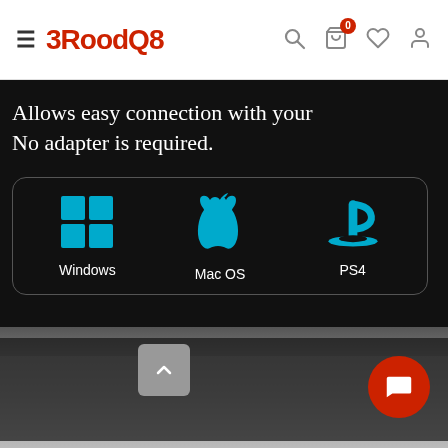≡ 3RoodQ8 [search] [cart:0] [wishlist] [account]
[Figure (screenshot): Product page image showing a laptop with a dark screen displaying text 'Allows easy connection with your No adapter is required.' and compatibility icons for Windows, Mac OS, and PS4 in teal color inside a rounded rectangle border.]
Allows easy connection with your
No adapter is required.
Windows  Mac OS  PS4